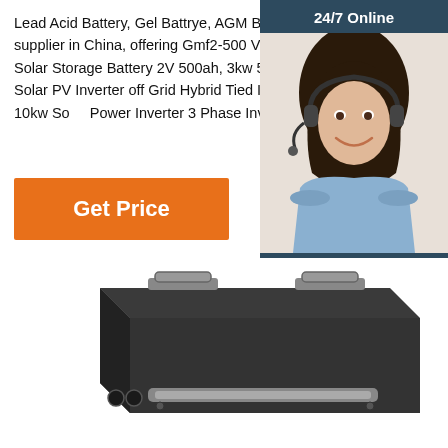Lead Acid Battery, Gel Battrye, AGM Battery manufacturer supplier in China, offering Gmf2-500 VRLA Lead Acid Gel Solar Storage Battery 2V 500ah, 3kw 5kw 10kw Optional Solar PV Inverter off Grid Hybrid Tied Inverter, 3kw 5kw 10kw Solar Power Inverter 3 Phase Inverter and so on.
[Figure (other): Get Price orange button]
[Figure (infographic): 24/7 Online chat widget with female agent wearing headset, dark blue background, Click here for free chat!, QUOTATION orange button]
[Figure (photo): Dark grey/black rectangular battery unit with metal handles on top, viewed from a three-quarter angle]